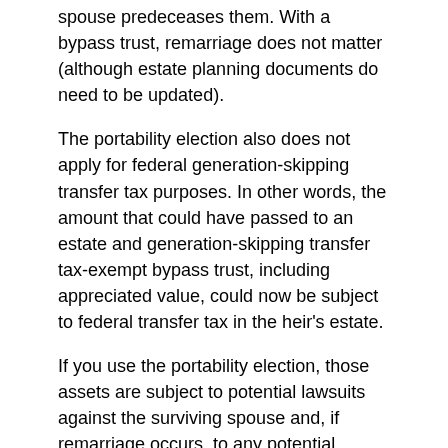spouse predeceases them. With a bypass trust, remarriage does not matter (although estate planning documents do need to be updated).
The portability election also does not apply for federal generation-skipping transfer tax purposes. In other words, the amount that could have passed to an estate and generation-skipping transfer tax-exempt bypass trust, including appreciated value, could now be subject to federal transfer tax in the heir's estate.
If you use the portability election, those assets are subject to potential lawsuits against the surviving spouse and, if remarriage occurs, to any potential claims of a new spouse. A bypass trust provides better protection from lawsuits and claims.
Using the portability election may result in the first spouse to die losing the option to control where those assets go upon the death of the surviving spouse. A bypass trust provides more control for asset distribution.